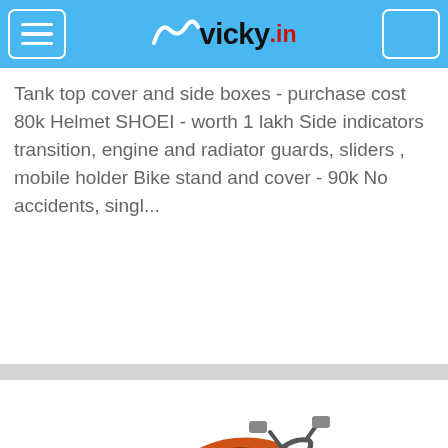vicky.in
Tank top cover and side boxes - purchase cost 80k Helmet SHOEI - worth 1 lakh Side indicators transition, engine and radiator guards, sliders , mobile holder Bike stand and cover - 90k No accidents, singl...
[Figure (photo): Photo of an orange Honda Dio scooter shown at an angle]
4 Photos
Honda Dio  Posted On 10th Aug 2022
Bicholim, Goa    Individual